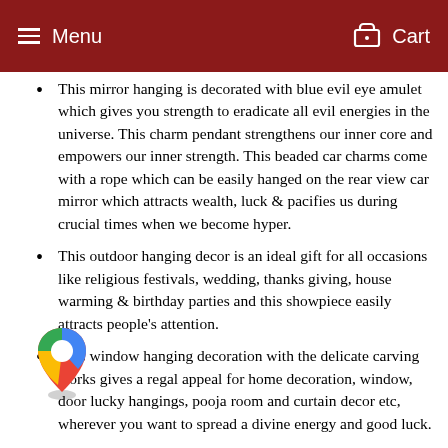Menu  Cart
This mirror hanging is decorated with blue evil eye amulet which gives you strength to eradicate all evil energies in the universe. This charm pendant strengthens our inner core and empowers our inner strength. This beaded car charms come with a rope which can be easily hanged on the rear view car mirror which attracts wealth, luck & pacifies us during crucial times when we become hyper.
This outdoor hanging decor is an ideal gift for all occasions like religious festivals, wedding, thanks giving, house warming & birthday parties and this showpiece easily attracts people's attention.
This window hanging decoration with the delicate carving works gives a regal appeal for home decoration, window, door lucky hangings, pooja room and curtain decor etc, wherever you want to spread a divine energy and good luck.
Dimensions of the hanging including the thread / beads are: 1 cm X 1 cm X 26 cm and weighs approximately 356 grams. Product colour may slightly vary due to photographic lighting
[Figure (logo): Google Maps logo pin icon overlapping content]